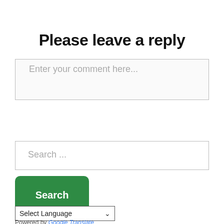Please leave a reply
Enter your comment here...
Search ...
Search
Select Language
Powered by Google Translate